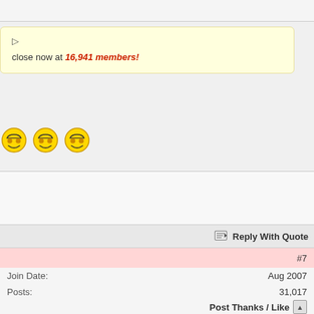close now at 16,941 members!
[Figure (illustration): Three yellow smiley face emoji icons in a row]
Reply With Quote
#7
| Join Date: | Aug 2007 |
| Posts: | 31,017 |
| Post Thanks / Like |  |